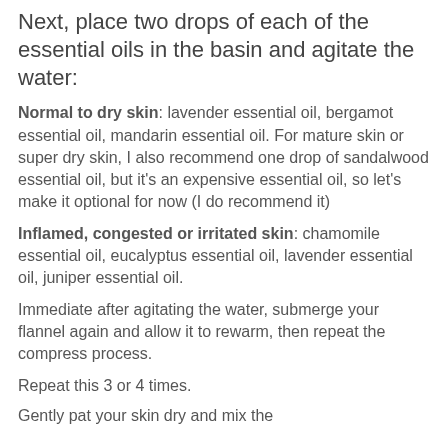Next, place two drops of each of the essential oils in the basin and agitate the water:
Normal to dry skin: lavender essential oil, bergamot essential oil, mandarin essential oil. For mature skin or super dry skin, I also recommend one drop of sandalwood essential oil, but it’s an expensive essential oil, so let’s make it optional for now (I do recommend it)
Inflamed, congested or irritated skin: chamomile essential oil, eucalyptus essential oil, lavender essential oil, juniper essential oil.
Immediate after agitating the water, submerge your flannel again and allow it to rewarm, then repeat the compress process.
Repeat this 3 or 4 times.
Gently pat your skin dry and mix the